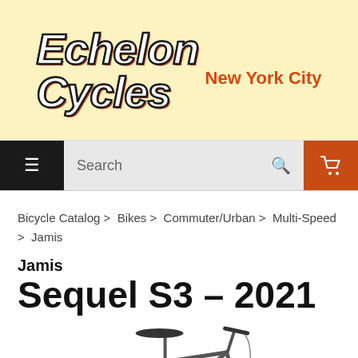[Figure (logo): Echelon Cycles New York City logo with italic bold white text outlined in black with orange shadow on light yellow background]
≡  Search  🔍  🛒
Bicycle Catalog > Bikes > Commuter/Urban > Multi-Speed > Jamis
Jamis
Sequel S3 - 2021
[Figure (photo): Partial view of a Jamis Sequel S3 2021 bicycle in gray/dark color, showing the frame, saddle, and handlebars]